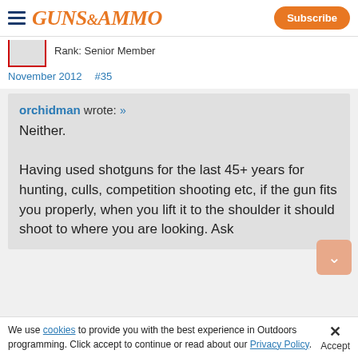GUNS&AMMO — Subscribe
Rank: Senior Member
November 2012    #35
orchidman wrote: »
Neither.
Having used shotguns for the last 45+ years for hunting, culls, competition shooting etc, if the gun fits you properly, when you lift it to the shoulder it should shoot to where you are looking. Ask
We use cookies to provide you with the best experience in Outdoors programming. Click accept to continue or read about our Privacy Policy.